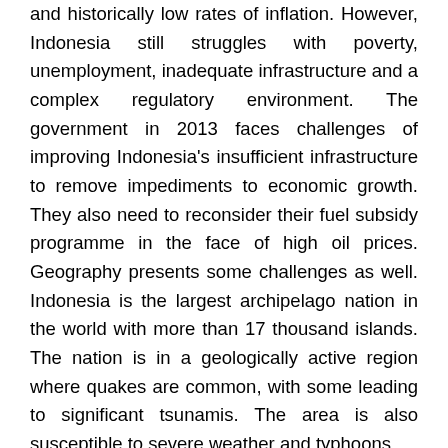and historically low rates of inflation. However, Indonesia still struggles with poverty, unemployment, inadequate infrastructure and a complex regulatory environment. The government in 2013 faces challenges of improving Indonesia's insufficient infrastructure to remove impediments to economic growth. They also need to reconsider their fuel subsidy programme in the face of high oil prices. Geography presents some challenges as well. Indonesia is the largest archipelago nation in the world with more than 17 thousand islands. The nation is in a geologically active region where quakes are common, with some leading to significant tsunamis. The area is also susceptible to severe weather and typhoons.